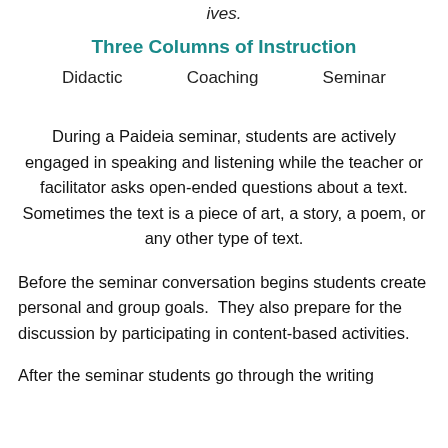ives.
Three Columns of Instruction
Didactic    Coaching    Seminar
During a Paideia seminar, students are actively engaged in speaking and listening while the teacher or facilitator asks open-ended questions about a text. Sometimes the text is a piece of art, a story, a poem, or any other type of text.
Before the seminar conversation begins students create personal and group goals.  They also prepare for the discussion by participating in content-based activities.
After the seminar students go through the writing